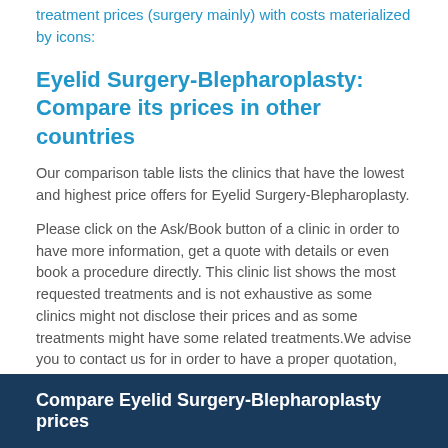treatment prices (surgery mainly) with costs materialized by icons:
Eyelid Surgery-Blepharoplasty: Compare its prices in other countries
Our comparison table lists the clinics that have the lowest and highest price offers for Eyelid Surgery-Blepharoplasty.
Please click on the Ask/Book button of a clinic in order to have more information, get a quote with details or even book a procedure directly. This clinic list shows the most requested treatments and is not exhaustive as some clinics might not disclose their prices and as some treatments might have some related treatments.We advise you to contact us for in order to have a proper quotation, be able to answer your questions, get the final real price (transportation and accommodation as well – please bear in mind that it costs in average much less than 10% of the given treatment price.
Compare Eyelid Surgery-Blepharoplasty prices